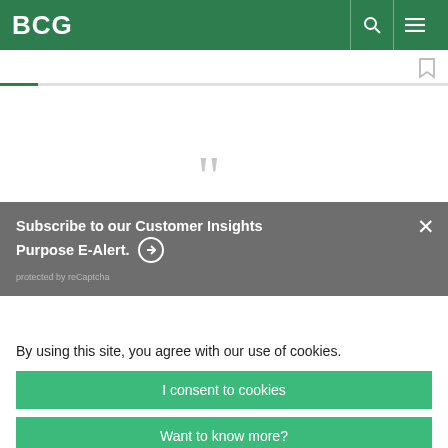BCG
Subscribe to our Customer Insights Purpose E-Alert.
protected by reCaptcha
By using this site, you agree with our use of cookies.
I consent to cookies
Want to know more?
Read our Cookie Policy